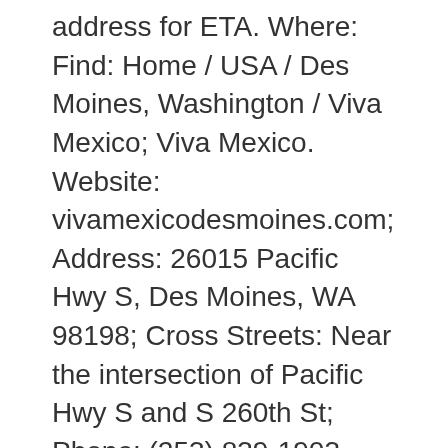address for ETA. Where: Find: Home / USA / Des Moines, Washington / Viva Mexico; Viva Mexico. Website: vivamexicodesmoines.com; Address: 26015 Pacific Hwy S, Des Moines, WA 98198; Cross Streets: Near the intersection of Pacific Hwy S and S 260th St; Phone: (253) 839-1903 Menu. Also see photos and tips from visitors. The business is located in 26015 Pacific Hwy S, Des Moines, WA 98198, USA. Get Directions (515) 255-8238. vivadsm.com. Here at Viva Mexico we have a wide selection of mexican food to choose from, including our salad □s □. YEARS IN BUSINESS. $9.00. Huaraches. Viva Mexico. Log In. Cost $25 for two people (approx.) 34. This place made a